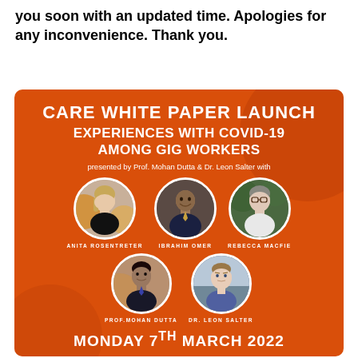you soon with an updated time. Apologies for any inconvenience. Thank you.
[Figure (infographic): Orange event poster for CARE White Paper Launch: Experiences with COVID-19 Among Gig Workers, presented by Prof. Mohan Dutta & Dr. Leon Salter with Anita Rosentreter, Ibrahim Omer, Rebecca Macfie, Prof. Mohan Dutta, Dr. Leon Salter. Monday 7th March 2022.]